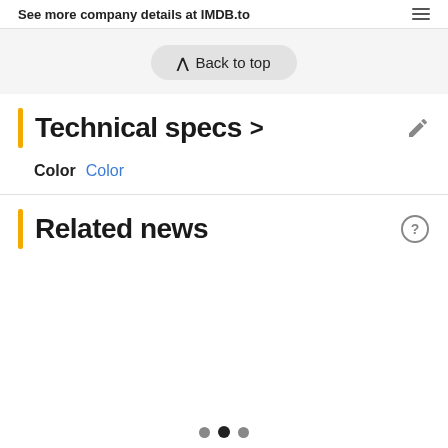See more company details at IMDB.to
Back to top
Technical specs >
Color  Color
Related news